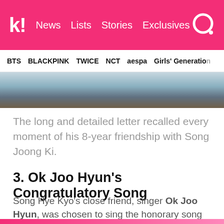k! News | Lists | Stories | Exclusives
BTS | BLACKPINK | TWICE | NCT | aespa | Girls' Generation
[Figure (photo): Partial photo showing figures, cropped at top and bottom]
The long and detailed letter recalled every moment of his 8-year friendship with Song Joong Ki.
3. Ok Joo Hyun's Congratulatory Song
Song Hye Kyo's close friend, singer Ok Joo Hyun, was chosen to sing the honorary song at their wedding.